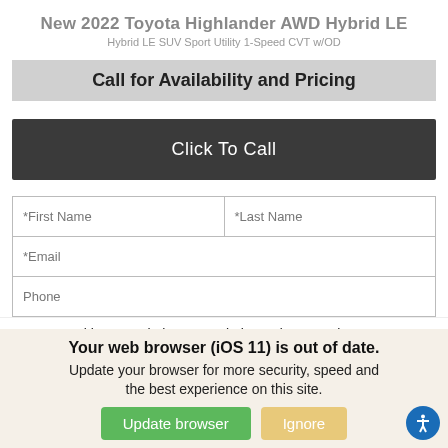New 2022 Toyota Highlander AWD Hybrid LE
Hybrid LE SUV Sport Utility 1-Speed CVT w/OD
Call for Availability and Pricing
Click To Call
*First Name
*Last Name
*Email
Phone
We use cookies to optimize our website and our service.
Cookie Policy   Privacy Statement
Your web browser (iOS 11) is out of date. Update your browser for more security, speed and the best experience on this site.
Update browser
Ignore